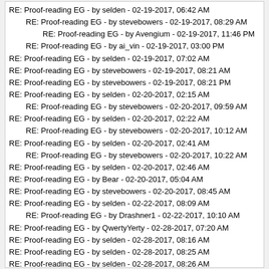RE: Proof-reading EG - by selden - 02-19-2017, 06:42 AM
RE: Proof-reading EG - by stevebowers - 02-19-2017, 08:29 AM
RE: Proof-reading EG - by Avengium - 02-19-2017, 11:46 PM
RE: Proof-reading EG - by ai_vin - 02-19-2017, 03:00 PM
RE: Proof-reading EG - by selden - 02-19-2017, 07:02 AM
RE: Proof-reading EG - by stevebowers - 02-19-2017, 08:21 AM
RE: Proof-reading EG - by stevebowers - 02-19-2017, 08:21 PM
RE: Proof-reading EG - by selden - 02-20-2017, 02:15 AM
RE: Proof-reading EG - by stevebowers - 02-20-2017, 09:59 AM
RE: Proof-reading EG - by selden - 02-20-2017, 02:22 AM
RE: Proof-reading EG - by stevebowers - 02-20-2017, 10:12 AM
RE: Proof-reading EG - by selden - 02-20-2017, 02:41 AM
RE: Proof-reading EG - by stevebowers - 02-20-2017, 10:22 AM
RE: Proof-reading EG - by selden - 02-20-2017, 02:46 AM
RE: Proof-reading EG - by Bear - 02-20-2017, 05:04 AM
RE: Proof-reading EG - by stevebowers - 02-20-2017, 08:45 AM
RE: Proof-reading EG - by selden - 02-22-2017, 08:09 AM
RE: Proof-reading EG - by Drashner1 - 02-22-2017, 10:10 AM
RE: Proof-reading EG - by QwertyYerty - 02-28-2017, 07:20 AM
RE: Proof-reading EG - by selden - 02-28-2017, 08:16 AM
RE: Proof-reading EG - by selden - 02-28-2017, 08:25 AM
RE: Proof-reading EG - by selden - 02-28-2017, 08:26 AM
RE: Proof-reading EG - by selden - 02-28-2017, 08:41 AM
RE: Proof-reading EG - by Drashner1 - 02-28-2017, 01:02 PM
RE: Proof-reading EG - by selden - 02-28-2017, 10:31 AM